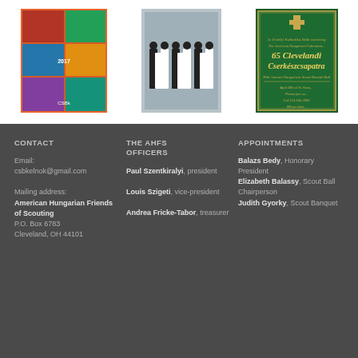[Figure (photo): Collage of group photos with colorful background, event photos]
[Figure (photo): Group photo of young people in formal black and white attire]
[Figure (photo): Green decorative poster for 65 Clevelandi Cserkeszcsapatara 39th Annual Hungarian Scout Benefit Ball]
CONTACT
Email: csbkelnok@gmail.com
Mailing address:
American Hungarian Friends of Scouting
P.O. Box 6783
Cleveland, OH 44101
THE AHFS OFFICERS
Paul Szentkiralyi, president
Louis Szigeti, vice-president
Andrea Fricke-Tabor, treasurer
APPOINTMENTS
Balazs Bedy, Honorary President
Elizabeth Balassy, Scout Ball Chairperson
Judith Gyorky, Scout Banquet